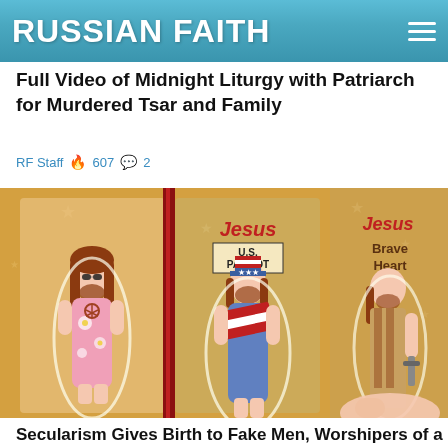RUSSIAN FAITH
Full Video of Midnight Liturgy with Patriarch for Murdered Tsar and Family
RF Staff 🔥 607 💬 2
[Figure (illustration): Illustrated parody action figures of Jesus in different American cultural costumes: hippie, U.S. Patriot, and Brave Heart, on an orange/gold background with stars]
Secularism Gives Birth to Fake Men, Worshipers of a Fake Christ
Fr. Zechariah Lynch 🔥 650 💬 1